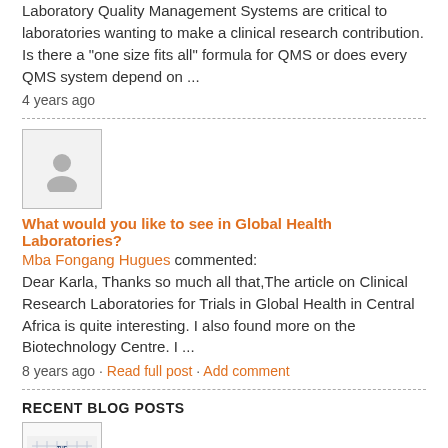Laboratory Quality Management Systems are critical to laboratories wanting to make a clinical research contribution. Is there a "one size fits all" formula for QMS or does every QMS system depend on ...
4 years ago
[Figure (other): User avatar placeholder icon — grey silhouette of a person on light grey background inside a bordered square]
What would you like to see in Global Health Laboratories?
Mba Fongang Hugues commented:
Dear Karla, Thanks so much all that,The article on Clinical Research Laboratories for Trials in Global Health in Central Africa is quite interesting. I also found more on the Biotechnology Centre. I ...
8 years ago · Read full post · Add comment
RECENT BLOG POSTS
[Figure (logo): The Global Health Network logo — small grid lines with text]
NEW MEMBERS